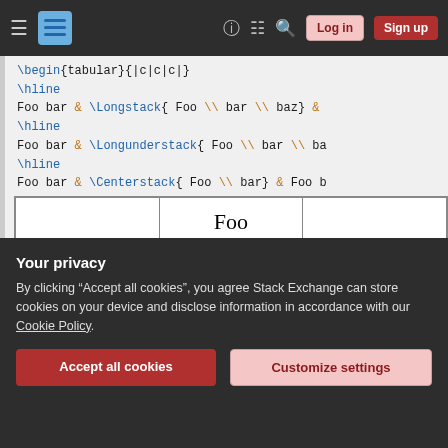Stack Exchange navigation bar with Log in and Sign up buttons
\begin{tabular}{|c|c|c|}
\hline
Foo bar & \Longstack{ Foo \\ bar \\ baz} &
\hline
Foo bar & \Longunderstack{ Foo \\ bar \\ ba
\hline
Foo bar & \Centerstack{ Foo \\ bar} & Foo b
\hline
\end{tabular}
\end{document}
[Figure (other): Partial table preview showing 'Foo' in serif font in the middle cell]
Your privacy
By clicking "Accept all cookies", you agree Stack Exchange can store cookies on your device and disclose information in accordance with our Cookie Policy.
Accept all cookies   Customize settings